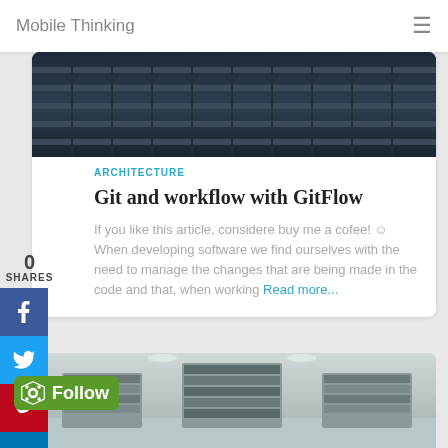Mobile Thinking
[Figure (photo): Dark metallic rails/grating image]
0
SHARES
ARCHITECTURE
Git and workflow with GitFlow
If you like this article, considere buy me a cofee! ☺ When developing software we find ourselves with the need to manage the changes that are being made in the code and that, when working Read more...
[Figure (photo): Library interior with bookshelves]
[Figure (logo): Follow badge with green background and Feedly-style icon]